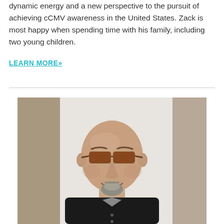dynamic energy and a new perspective to the pursuit of achieving cCMV awareness in the United States. Zack is most happy when spending time with his family, including two young children.
LEARN MORE»
[Figure (photo): Professional headshot of a bald man with a goatee wearing sunglasses and a black shirt, smiling at the camera. Background shows light walls and pillars.]